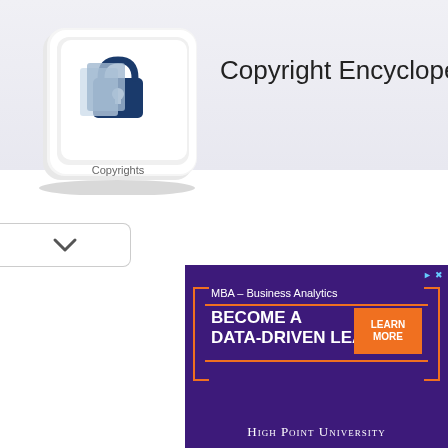[Figure (logo): Copyright Encyclopedia logo: a keyboard key with a padlock and document icon, labeled 'Copyrights']
Copyright Encyclopedia
Date of
Basis
Previous Reg
De
O
[Figure (infographic): Advertisement: MBA - Business Analytics. BECOME A DATA-DRIVEN LEADER. LEARN MORE button. HIGH POINT UNIVERSITY. Purple background with orange bracket decoration.]